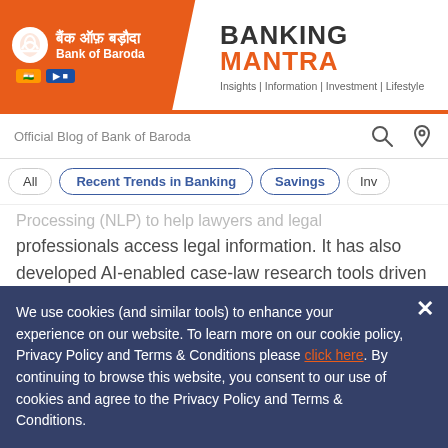BANKING MANTRA | Insights | Information | Investment | Lifestyle — Official Blog of Bank of Baroda
All | Recent Trends in Banking | Savings | Inv…
Processing (NLP) to help lawyers and legal professionals access legal information. It has also developed AI-enabled case-law research tools driven by summarisation algorithms coupled with machine learning to rank the cases using Case Ranking. Such tools enable lawyers to know which cases are better suited to be cited in the courts over others and also provide analytics on how the network of cases are inter-related.
While other firms are leveraging AI to offer virtual … ime … s … system. Even judges can upload both the appellant's counsel's
We use cookies (and similar tools) to enhance your experience on our website. To learn more on our cookie policy, Privacy Policy and Terms & Conditions please click here. By continuing to browse this website, you consent to our use of cookies and agree to the Privacy Policy and Terms & Conditions.